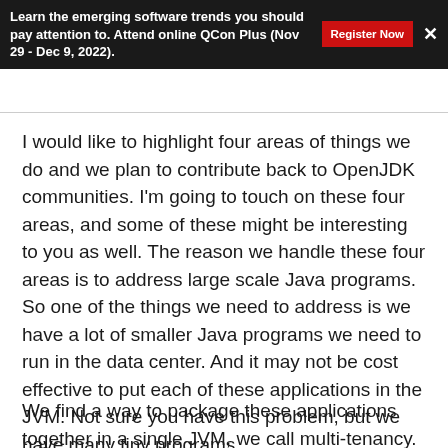Learn the emerging software trends you should pay attention to. Attend online QCon Plus (Nov 29 - Dec 9, 2022).
I would like to highlight four areas of things we do and we plan to contribute back to OpenJDK communities. I'm going to touch on these four areas, and some of these might be interesting to you as well. The reason we handle these four areas is to address large scale Java programs. So one of the things we need to address is we have a lot of smaller Java programs we need to run in the data center. And it may not be cost effective to put each of these applications in the JVM. Not sure you have this problem, but we have many tiny programs.
We find a way to package these applications together in a single JVM, we call multi-tenancy. We